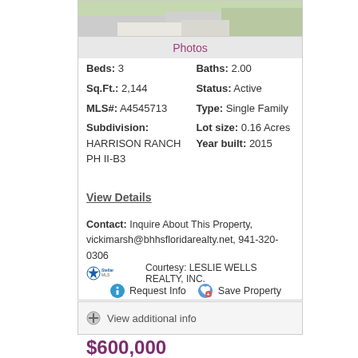[Figure (photo): Partial view of a house exterior showing driveway and grass lawn]
Photos
Beds: 3   Baths: 2.00
Sq.Ft.: 2,144   Status: Active
MLS#: A4545713   Type: Single Family
Subdivision: HARRISON RANCH PH II-B3   Lot size: 0.16 Acres
Year built: 2015
View Details
Contact: Inquire About This Property, vickimarsh@bhhsfloridarealty.net, 941-320-0306
Courtesy: LESLIE WELLS REALTY, INC.
Request Info   Save Property
View additional info
$600,000
11823 MAJOR TURNER RUN Parrish, Fl